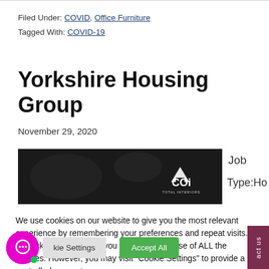Filed Under: COVID, Office Furniture
Tagged With: COVID-19
Yorkshire Housing Group
November 29, 2020
[Figure (photo): Dark image with ACOi Total Interiors logo]
Job
Type:Ho
We use cookies on our website to give you the most relevant experience by remembering your preferences and repeat visits. By clicking "Accept All", you consent to the use of ALL the cookies. However, you may visit "Cookie Settings" to provide a controlled consent.